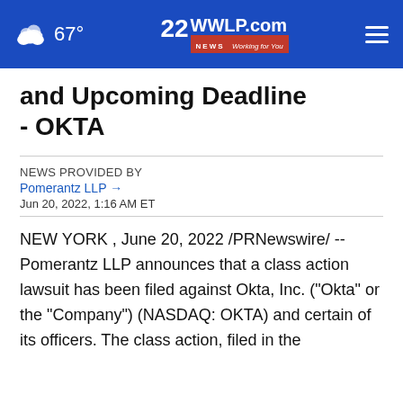22WWLP.com NEWS Working for You | 67°
and Upcoming Deadline - OKTA
NEWS PROVIDED BY
Pomerantz LLP →
Jun 20, 2022, 1:16 AM ET
NEW YORK , June 20, 2022 /PRNewswire/ -- Pomerantz LLP announces that a class action lawsuit has been filed against Okta, Inc. ("Okta" or the "Company") (NASDAQ: OKTA) and certain of its officers. The class action, filed in the